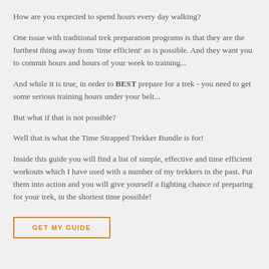How are you expected to spend hours every day walking?
One issue with traditional trek preparation programs is that they are the furthest thing away from 'time efficient' as is possible.  And they want you to commit hours and hours of your week to training...
And while it is true, in order to BEST prepare for a trek - you need to get some serious training hours under your belt...
But what if that is not possible?
Well that is what the Time Strapped Trekker Bundle is for!
Inside this guide you will find a list of simple, effective and time efficient workouts which I have used with a number of my trekkers in the past. Put them into action and you will give yourself a fighting chance of preparing for your trek, in the shortest time possible!
GET MY GUIDE